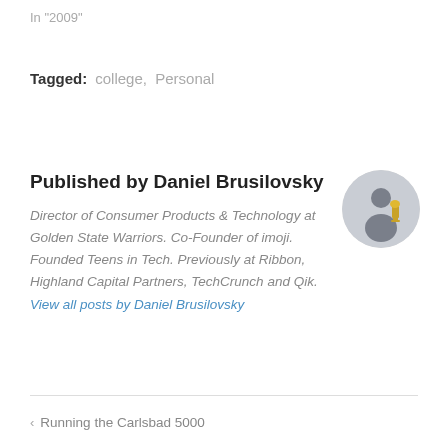In "2009"
Tagged:   college,  Personal
Published by Daniel Brusilovsky
[Figure (photo): Circular avatar photo of Daniel Brusilovsky holding a trophy]
Director of Consumer Products & Technology at Golden State Warriors. Co-Founder of imoji. Founded Teens in Tech. Previously at Ribbon, Highland Capital Partners, TechCrunch and Qik. View all posts by Daniel Brusilovsky
< Running the Carlsbad 5000